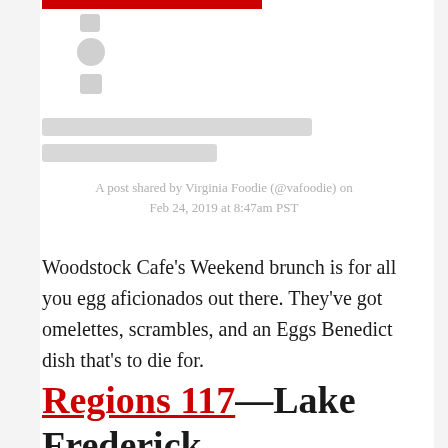[Figure (screenshot): Social media post loading placeholder with icons and gray loading bars]
A post shared by Virginia Foodie (@vafoodie) on Feb 24, 2019 at 8:47am PST
Woodstock Cafe’s Weekend brunch is for all you egg aficionados out there. They’ve got omelettes, scrambles, and an Eggs Benedict dish that’s to die for.
Regions 117—Lake Frederick